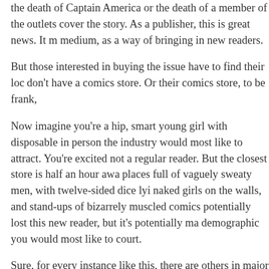the death of Captain America or the death of a member of the outlets cover the story. As a publisher, this is great news. It m medium, as a way of bringing in new readers.
But those interested in buying the issue have to find their loc don't have a comics store. Or their comics store, to be frank,
Now imagine you're a hip, smart young girl with disposable i person the industry would most like to attract. You're excited not a regular reader. But the closest store is half an hour awa places full of vaguely sweaty men, with twelve-sided dice lyi naked girls on the walls, and stand-ups of bizarrely muscled comics potentially lost this new reader, but it's potentially ma demographic you would most like to court.
Sure, for every instance like this, there are others in major ci comics shops. But by making the issue available digitally, one
(The above image, by the way, isn't actually a girl cautiously rather Olive Panter, working in New York's Cosmic Comics, a important to note that she doesn't read super-hero comics a